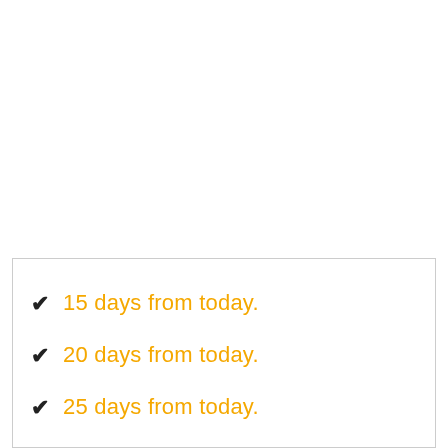15 days from today.
20 days from today.
25 days from today.
30 days from today.
35 days from today.
40 days from today.
45 days from today.